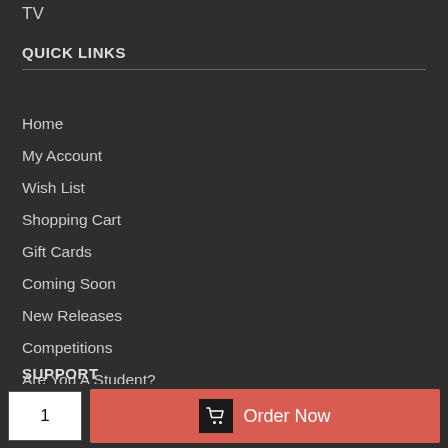TV
QUICK LINKS
Home
My Account
Wish List
Shopping Cart
Gift Cards
Coming Soon
New Releases
Competitions
Are You A Student?
SUPPORT
1  Order Now